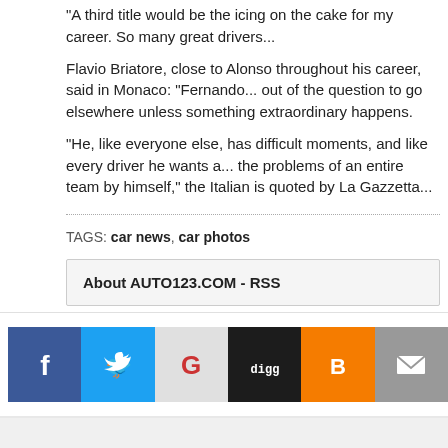“A third title would be the icing on the cake for my career. So many great drivers...
Flavio Briatore, close to Alonso throughout his career, said in Monaco: “Fernand... out of the question to go elsewhere unless something extraordinary happens.
“He, like everyone else, has difficult moments, and like every driver he wants a... the problems of an entire team by himself,” the Italian is quoted by La Gazzetta...
TAGS: car news, car photos
About AUTO123.COM - RSS
[Figure (infographic): Social sharing icons: Facebook (blue), Twitter (blue), Google+ (red/white G), Digg (black), Blogger (orange), Email (grey)]
Copyright Cars.Store-1.net. All Rights Reserved.